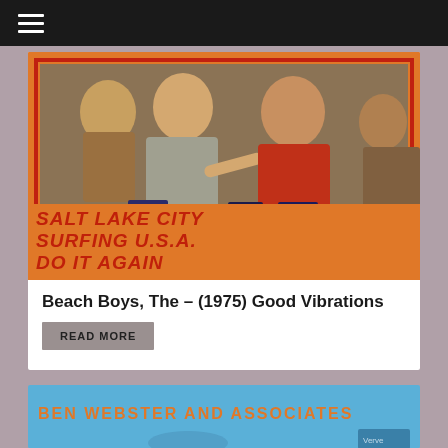☰ (navigation menu)
[Figure (photo): Album cover photo showing members of The Beach Boys on an orange background with text 'SALT LAKE CITY / SURFING U.S.A. / DO IT AGAIN' in red stylized lettering]
Beach Boys, The – (1975) Good Vibrations
READ MORE
[Figure (photo): Album cover for 'Ben Webster and Associates' on a blue background with orange text]